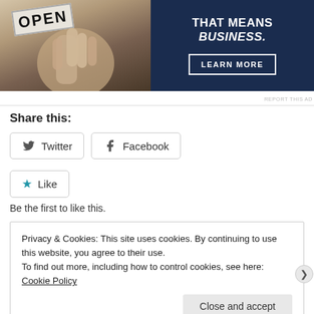[Figure (photo): Advertisement banner with photo of hands holding an 'OPEN' sign on left, and text 'THAT MEANS BUSINESS.' with a 'LEARN MORE' button on dark blue background on right]
REPORT THIS AD
Share this:
Twitter  Facebook
Like
Be the first to like this.
Privacy & Cookies: This site uses cookies. By continuing to use this website, you agree to their use.
To find out more, including how to control cookies, see here: Cookie Policy
Close and accept